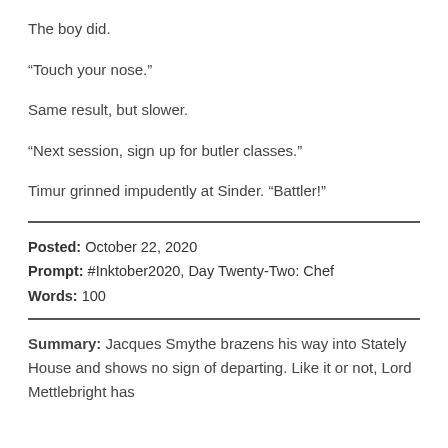The boy did.
“Touch your nose.”
Same result, but slower.
“Next session, sign up for butler classes.”
Timur grinned impudently at Sinder. “Battler!”
Posted: October 22, 2020
Prompt: #Inktober2020, Day Twenty-Two: Chef
Words: 100
Summary: Jacques Smythe brazens his way into Stately House and shows no sign of departing. Like it or not, Lord Mettlebright has